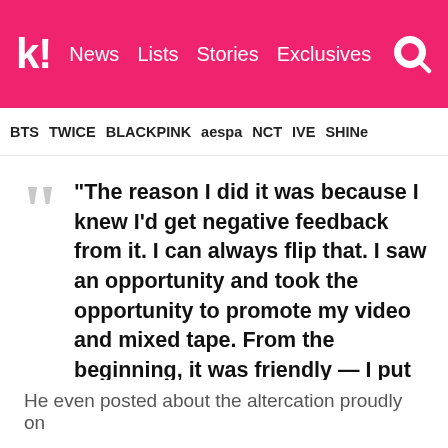k! News  Lists  Stories  Exclusives
BTS  TWICE  BLACKPINK  aespa  NCT  IVE  SHINee
“The reason I did it was because I knew I’d get negative feedback from it. I can always flip that. I saw an opportunity and took the opportunity to promote my video and mixed tape. From the beginning, it was friendly — I put my arm around him, and then he pushed me, grabbed me.” — Key Jonta Foster
He even posted about the altercation proudly on